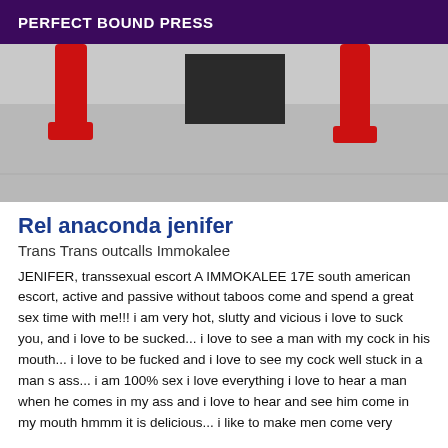PERFECT BOUND PRESS
[Figure (photo): Partial photo showing red high heel shoes on a light grey surface with dark rectangular shape in background]
Rel anaconda jenifer
Trans Trans outcalls Immokalee
JENIFER, transsexual escort A IMMOKALEE 17E south american escort, active and passive without taboos come and spend a great sex time with me!!! i am very hot, slutty and vicious i love to suck you, and i love to be sucked... i love to see a man with my cock in his mouth... i love to be fucked and i love to see my cock well stuck in a man s ass... i am 100% sex i love everything i love to hear a man when he comes in my ass and i love to hear and see him come in my mouth hmmm it is delicious... i like to make men come very